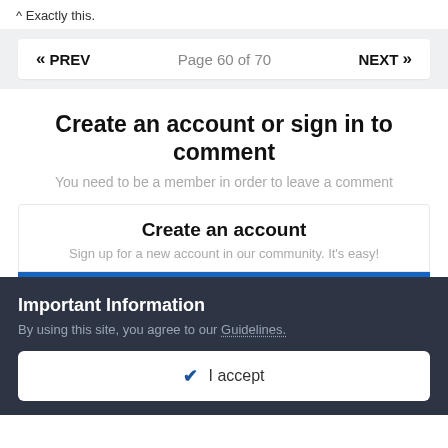^ Exactly this.
« PREV   Page 60 of 70   NEXT »
Create an account or sign in to comment
You need to be a member in order to leave a comment
Create an account
Sign up for a new account in our community. It's easy!
Important Information
By using this site, you agree to our Guidelines.
✔ I accept